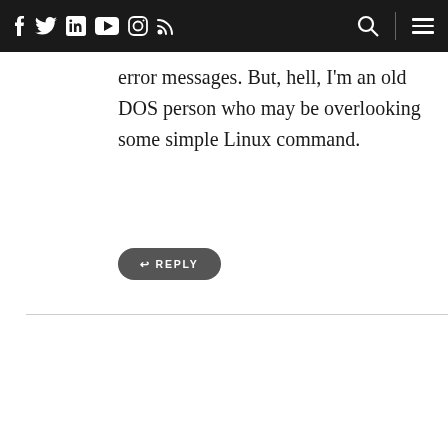Social nav bar with icons: Facebook, Twitter, LinkedIn, YouTube, Instagram, RSS, Search, Menu
error messages. But, hell, I'm an old DOS person who may be overlooking some simple Linux command.
↩ REPLY